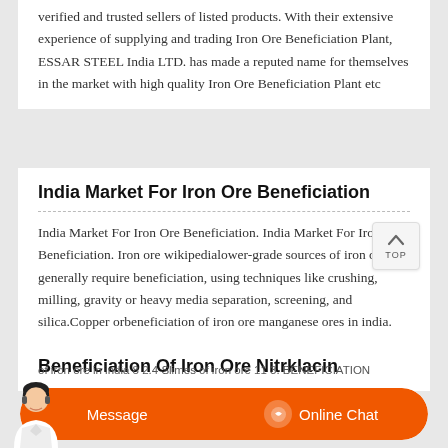verified and trusted sellers of listed products. With their extensive experience of supplying and trading Iron Ore Beneficiation Plant, ESSAR STEEL India LTD. has made a reputed name for themselves in the market with high quality Iron Ore Beneficiation Plant etc
India Market For Iron Ore Beneficiation
India Market For Iron Ore Beneficiation. India Market For Iron Ore Beneficiation. Iron ore wikipedialower-grade sources of iron ore generally require beneficiation, using techniques like crushing, milling, gravity or heavy media separation, screening, and silica.Copper orbeneficiation of iron ore manganese ores in india.
Beneficiation Of Iron Ore Nitrklacin
of iron ore in india 8 2.4 Slimes of iron ore 11 3. BENEFICIATION